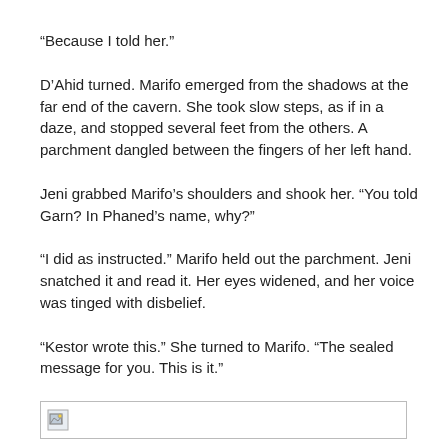“Because I told her.”
D’Ahid turned. Marifo emerged from the shadows at the far end of the cavern. She took slow steps, as if in a daze, and stopped several feet from the others. A parchment dangled between the fingers of her left hand.
Jeni grabbed Marifo’s shoulders and shook her. “You told Garn? In Phaned’s name, why?”
“I did as instructed.” Marifo held out the parchment. Jeni snatched it and read it. Her eyes widened, and her voice was tinged with disbelief.
“Kestor wrote this.” She turned to Marifo. “The sealed message for you. This is it.”
[Figure (other): Broken image placeholder icon in a bordered box]